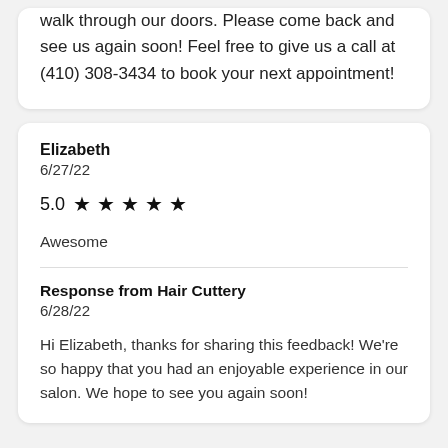walk through our doors. Please come back and see us again soon! Feel free to give us a call at (410) 308-3434 to book your next appointment!
Elizabeth
6/27/22
5.0 ★ ★ ★ ★ ★
Awesome
Response from Hair Cuttery
6/28/22
Hi Elizabeth, thanks for sharing this feedback! We're so happy that you had an enjoyable experience in our salon. We hope to see you again soon!